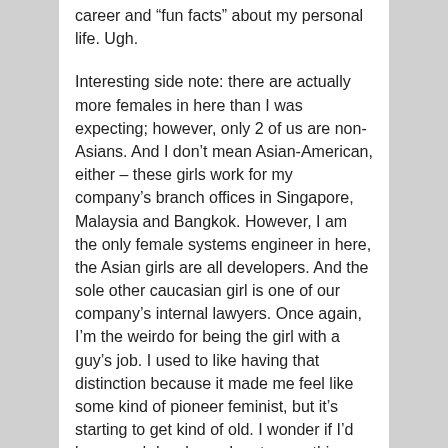career and “fun facts” about my personal life. Ugh.
Interesting side note: there are actually more females in here than I was expecting; however, only 2 of us are non-Asians. And I don’t mean Asian-American, either – these girls work for my company’s branch offices in Singapore, Malaysia and Bangkok. However, I am the only female systems engineer in here, the Asian girls are all developers. And the sole other caucasian girl is one of our company’s internal lawyers. Once again, I’m the weirdo for being the girl with a guy’s job. I used to like having that distinction because it made me feel like some kind of pioneer feminist, but it’s starting to get kind of old. I wonder if I’d be a good developer. I met a guy this morning who switched fields and said it wasn’t that hard a transition. Hmmm. It’s something that I’ve been thinking about lately.
Anyway, this past weekend was pretty good, although poor Dave had to put up with an irrationally grouchy me for 2 days. I don’t know why I was in such a foul mood,